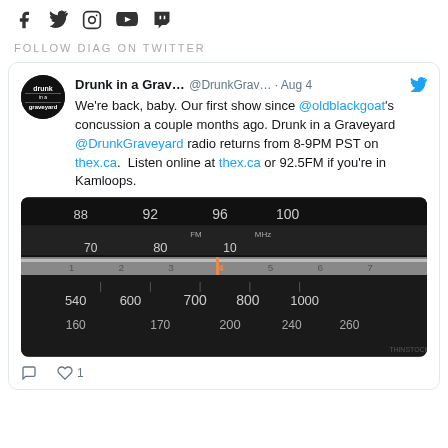Social media icons: Facebook, Twitter, Instagram, YouTube, Twitch
FOLLOW DIAG ON TWITTER
Drunk in a Grav...  @DrunkGrav...  · Aug 4
We're back, baby. Our first show since @oldblackgoat's concussion a couple months ago. Drunk in a Graveyard @DrunkGraveyard radio returns from 8-9PM PST on thex.ca.  Listen online at thex.ca or 92.5FM if you're in Kamloops.
[Figure (photo): Close-up photo of a vintage radio dial/tuner showing AM/FM frequency numbers on a dark background with an orange indicator line.]